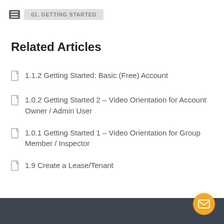01. GETTING STARTED
Related Articles
1.1.2 Getting Started: Basic (Free) Account
1.0.2 Getting Started 2 – Video Orientation for Account Owner / Admin User
1.0.1 Getting Started 1 – Video Orientation for Group Member / Inspector
1.9 Create a Lease/Tenant